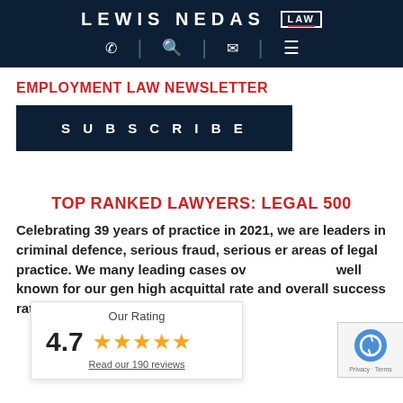LEWIS NEDAS LAW
EMPLOYMENT LAW NEWSLETTER
SUBSCRIBE
TOP RANKED LAWYERS: LEGAL 500
Celebrating 39 years of practice in 2021, we are leaders in criminal defence, serious fraud, serious er areas of legal practice. We many leading cases ov well known for our gen high acquittal rate and overall success rate. Please
[Figure (other): Rating widget showing 4.7 stars with text 'Our Rating', five gold stars, and 'Read our 190 reviews' link]
[Figure (other): Google reCAPTCHA badge with recycling-style arrows icon and 'Privacy - Terms' text]